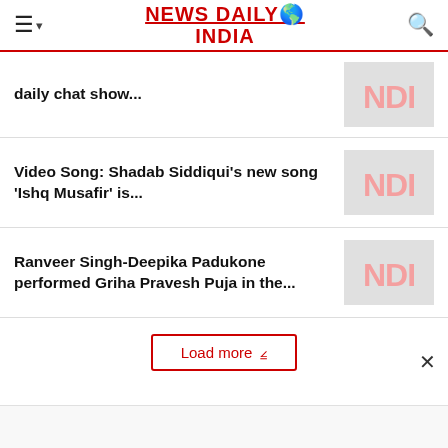NEWS DAILY INDIA
daily chat show...
Video Song: Shadab Siddiqui's new song 'Ishq Musafir' is...
Ranveer Singh-Deepika Padukone performed Griha Pravesh Puja in the...
Load more